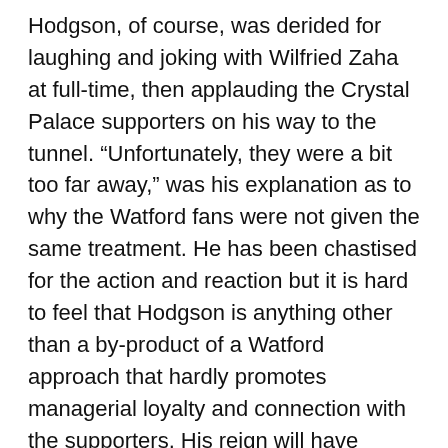Hodgson, of course, was derided for laughing and joking with Wilfried Zaha at full-time, then applauding the Crystal Palace supporters on his way to the tunnel. “Unfortunately, they were a bit too far away,” was his explanation as to why the Watford fans were not given the same treatment. He has been chastised for the action and reaction but it is hard to feel that Hodgson is anything other than a by-product of a Watford approach that hardly promotes managerial loyalty and connection with the supporters. His reign will have lasted 117 days from the date of appointment to his last game and that is somehow still longer than both Xisco and Ranieri were given to trudge along.
“It is a privilege to be a Premier League player, coach or manager,” Hodgson said before the game. “You certainly miss it when you are not one anymore. The players need to realise that.” So, too, do the owners and board. They